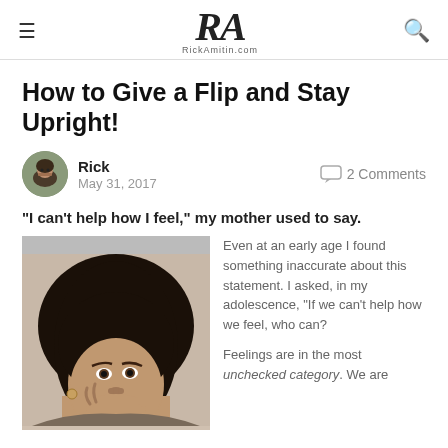RA RickAmitin.com
How to Give a Flip and Stay Upright!
Rick
May 31, 2017
2 Comments
“I can’t help how I feel,” my mother used to say.
[Figure (illustration): Illustrated portrait of a woman with natural hair, looking forward with hand near face]
Even at an early age I found something inaccurate about this statement. I asked, in my adolescence, “If we can’t help how we feel, who can?

Feelings are in the most unchecked category. We are